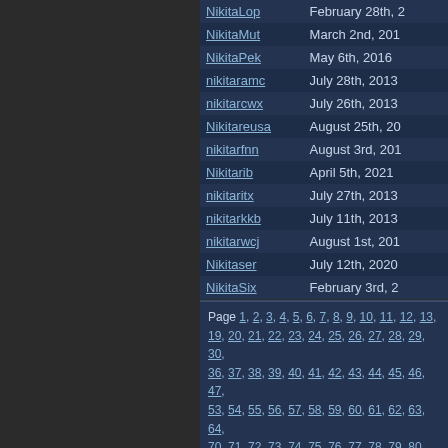| Username | Date |
| --- | --- |
| NikitaLop | February 28th, 2... |
| NikitaMut | March 2nd, 201... |
| NikitaPek | May 6th, 2016 |
| nikitaramc | July 28th, 2013 |
| nikitarcwx | July 26th, 2013 |
| Nikitareusa | August 25th, 20... |
| nikitarfnn | August 3rd, 201... |
| Nikitarib | April 5th, 2021 |
| nikitaritx | July 27th, 2013 |
| nikitarkkb | July 11th, 2013 |
| nikitarwcj | August 1st, 201... |
| Nikitaser | July 12th, 2020 |
| NikitaSix | February 3rd, 2... |
Page 1, 2, 3, 4, 5, 6, 7, 8, 9, 10, 11, 12, 13, ... 19, 20, 21, 22, 23, 24, 25, 26, 27, 28, 29, 30, ... 36, 37, 38, 39, 40, 41, 42, 43, 44, 45, 46, 47, ... 53, 54, 55, 56, 57, 58, 59, 60, 61, 62, 63, 64, ... 70, 71, 72, 73, 74, 75, 76, 77, 78, 79, 80, 81, ... 87, 88, 89, 90, 91, 92, 93, 94, 95, 96, 97, 98, ... 103, 104, 105, 106, 107, 108, 109, 110, 11... 115, 116, 117, 118, 119, 120, 121, 122, 12... 127, 128, 129, 130, 131, 132, 133, 134, 13... 139, 140, 141, 142, 143, 144, 145, 146, 14... 151, 152, 153, 154, 155, 156, 157, 158, 15... 163, 164, 165, 166, 167, 168, 169, 170, 1... 175, 176, 177, 178, 179, 180, 181, 182, 1...